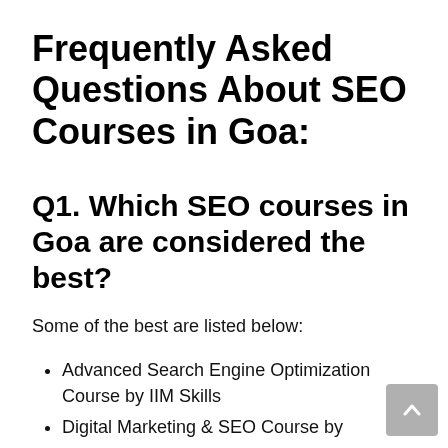Frequently Asked Questions About SEO Courses in Goa:
Q1. Which SEO courses in Goa are considered the best?
Some of the best are listed below:
Advanced Search Engine Optimization Course by IIM Skills
Digital Marketing & SEO Course by